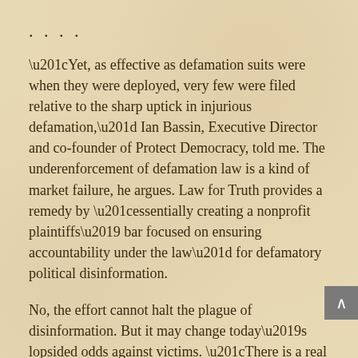....
“Yet, as effective as defamation suits were when they were deployed, very few were filed relative to the sharp uptick in injurious defamation,” Ian Bassin, Executive Director and co-founder of Protect Democracy, told me. The underenforcement of defamation law is a kind of market failure, he argues. Law for Truth provides a remedy by “essentially creating a nonprofit plaintiffs’ bar focused on ensuring accountability under the law” for defamatory political disinformation.
No, the effort cannot halt the plague of disinformation. But it may change today’s lopsided odds against victims. “There is a real sense of impunity among some of these outlets,” said Rachel Goodman, who leads the Law for Truth legal team.